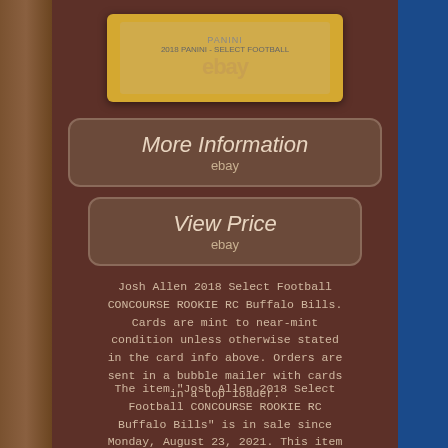[Figure (photo): eBay listing showing a Josh Allen 2018 Panini Select Football trading card in a top loader/case with gold border, displayed against a brown background]
[Figure (other): More Information button with eBay branding on brown rounded rectangle background]
[Figure (other): View Price button with eBay branding on brown rounded rectangle background]
Josh Allen 2018 Select Football CONCOURSE ROOKIE RC Buffalo Bills. Cards are mint to near-mint condition unless otherwise stated in the card info above. Orders are sent in a bubble mailer with cards in a top loader.
The item "Josh Allen 2018 Select Football CONCOURSE ROOKIE RC Buffalo Bills" is in sale since Monday, August 23, 2021. This item